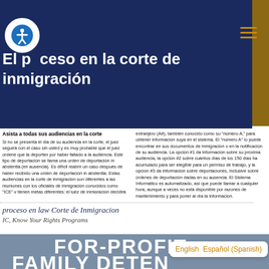[Figure (photo): Background photo of a person with orange/amber tones at top]
El proceso en la corte de inmigración
Asista a todas sus audiencias en la corte
Si no se presenta el día de su audiencia en la corte, el juez seguirá con el caso sin usted y es muy probable que el juez ordene que la deporten por haber faltado a la audiencia. Este tipo de deportación se llama una orden de deportación in abstentia (en ausencia). Es difícil reabrir un caso después de haber recibido una orden de deportación in abstentia. Estas audiencias en la corte de inmigración son diferentes a las reuniones con los oficiales de inmigración conocidos como 'ICE' y tienen metas diferentes: el juez de inmigración decidirá si se podrá quedar en los EE.UU. bajo alguna
extranjero (A#), también conocido como su "número A," para obtener información suya en el sistema. El "número A" lo puede encontrar en sus documentos de inmigración o en la notificación de su audiencia. La opción #1 da información sobre su próxima audiencia, la opción #2 sobre cuántos días de los 150 días ha acumulado para ser elegible para un permiso de trabajo, y la opción #3 da información sobre deportaciones, inclusive sobre órdenes de deportación dadas en su ausencia. El Sistema Informático es automatizado, así que puede llamar a cualquier hora, aunque a veces no está disponible por razones de mantenimiento y para poner al día la información.
proceso en law Corte de Inmigracion
IC, Know Your Rights Programs
[Figure (other): FOR-PROFIT FAMILY DETENTION text banner on grey-blue background]
English   Español (Spanish)